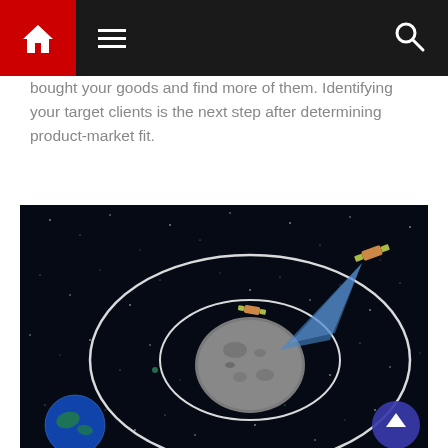Navigation bar with home, menu, and search icons
bought your goods and find more of them. Identifying your target clients is the next step after determining product-market fit.
[Figure (illustration): Space illustration showing an asteroid with two spacecraft orbiting it in elliptical loops, with blue thrust beams, Earth visible in the lower left corner, set against a dark starfield background. A blue circular scroll-up button is in the lower right.]